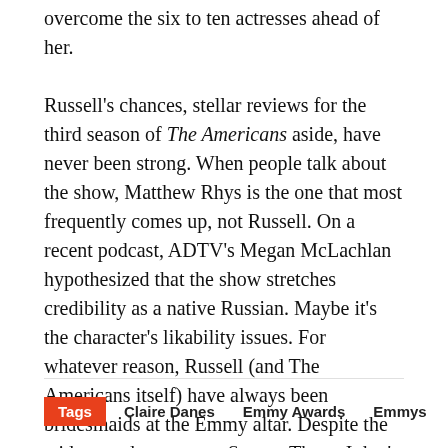overcome the six to ten actresses ahead of her. Russell's chances, stellar reviews for the third season of The Americans aside, have never been strong. When people talk about the show, Matthew Rhys is the one that most frequently comes up, not Russell. On a recent podcast, ADTV's Megan McLachlan hypothesized that the show stretches credibility as a native Russian. Maybe it's the character's likability issues. For whatever reason, Russell (and The Americans itself) have always been bridesmaids at the Emmy altar. Despite the widespread raves over Season Three, I don't see that changing this year.
Tags: Claire Danes | Emmy Awards | Emmys